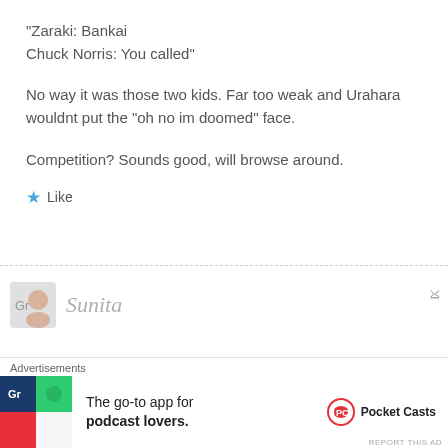“Zaraki: Bankai
Chuck Norris: You called”
No way it was those two kids. Far too weak and Urahara wouldnt put the “oh no im doomed” face.
Competition? Sounds good, will browse around.
★ Like
Sunita
Advertisements
The go-to app for podcast lovers.